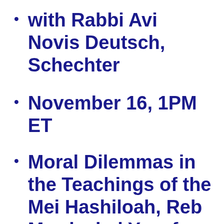with Rabbi Avi Novis Deutsch, Schechter
November 16, 1PM ET
Moral Dilemmas in the Teachings of the Mei Hashiloah, Reb Mordechai Yosef Leiner of Ishbitze